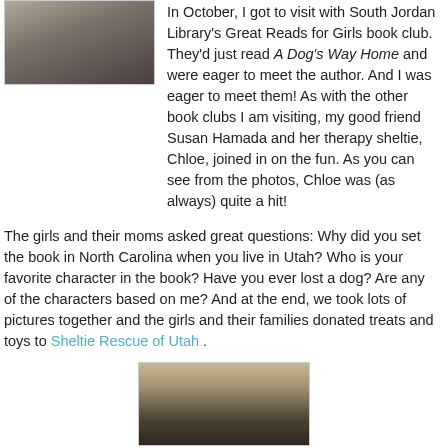[Figure (photo): Photo of a person in an orange/colorful scarf and dark jacket with a dog (sheltie), indoors]
In October, I got to visit with South Jordan Library's Great Reads for Girls book club. They'd just read A Dog's Way Home and were eager to meet the author. And I was eager to meet them! As with the other book clubs I am visiting, my good friend Susan Hamada and her therapy sheltie, Chloe, joined in on the fun. As you can see from the photos, Chloe was (as always) quite a hit!
The girls and their moms asked great questions: Why did you set the book in North Carolina when you live in Utah? Who is your favorite character in the book? Have you ever lost a dog? Are any of the characters based on me? And at the end, we took lots of pictures together and the girls and their families donated treats and toys to Sheltie Rescue of Utah .
[Figure (photo): Photo of group of girls and adults at the book club event, indoors]